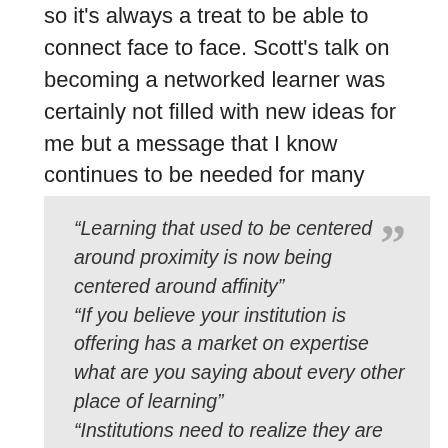so it's always a treat to be able to connect face to face. Scott's talk on becoming a networked learner was certainly not filled with new ideas for me but a message that I know continues to be needed for many educators in this province. A couple of key ideas did resonate for me, paraphrased somewhat:
“Learning that used to be centered around proximity is now being centered around affinity” “If you believe your institution is offering has a market on expertise what are you saying about every other place of learning” “Institutions need to realize they are not only there to offer learning to their own students but have a larger responsibility of